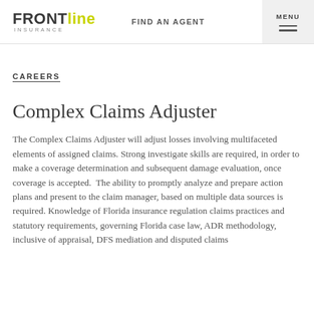FRONTline INSURANCE | FIND AN AGENT | MENU
CAREERS
Complex Claims Adjuster
The Complex Claims Adjuster will adjust losses involving multifaceted elements of assigned claims. Strong investigate skills are required, in order to make a coverage determination and subsequent damage evaluation, once coverage is accepted.  The ability to promptly analyze and prepare action plans and present to the claim manager, based on multiple data sources is required. Knowledge of Florida insurance regulation claims practices and statutory requirements, governing Florida case law, ADR methodology, inclusive of appraisal, DFS mediation and disputed claims